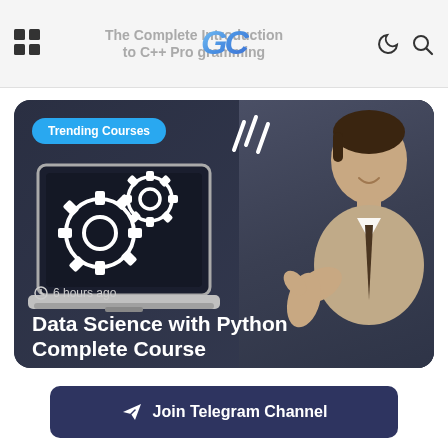The Complete Introduction to C++ Programming
[Figure (screenshot): Website UI showing trending courses card with laptop/gears illustration and a man giving thumbs up, plus 'Join Telegram Channel' button at bottom]
Trending Courses
6 hours ago
Data Science with Python Complete Course
Join Telegram Channel